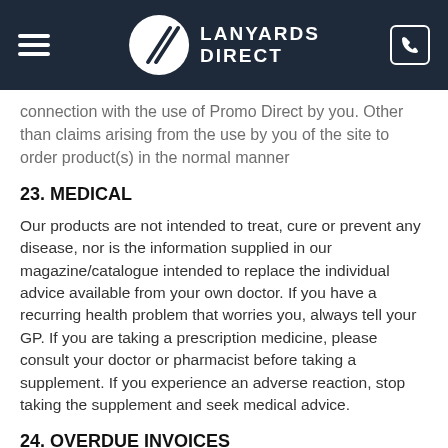Lanyards Direct
connection with the use of Promo Direct by you. Other than claims arising from the use by you of the site to order product(s) in the normal manner
23. MEDICAL
Our products are not intended to treat, cure or prevent any disease, nor is the information supplied in our magazine/catalogue intended to replace the individual advice available from your own doctor. If you have a recurring health problem that worries you, always tell your GP. If you are taking a prescription medicine, please consult your doctor or pharmacist before taking a supplement. If you experience an adverse reaction, stop taking the supplement and seek medical advice.
24. OVERDUE INVOICES